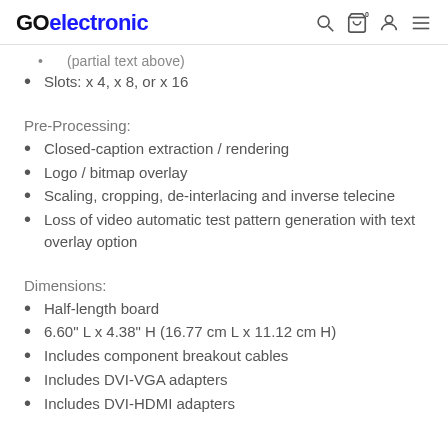GOelectronic
Slots: x 4, x 8, or x 16
Pre-Processing:
Closed-caption extraction / rendering
Logo / bitmap overlay
Scaling, cropping, de-interlacing and inverse telecine
Loss of video automatic test pattern generation with text overlay option
Dimensions:
Half-length board
6.60" L x 4.38" H (16.77 cm L x 11.12 cm H)
Includes component breakout cables
Includes DVI-VGA adapters
Includes DVI-HDMI adapters